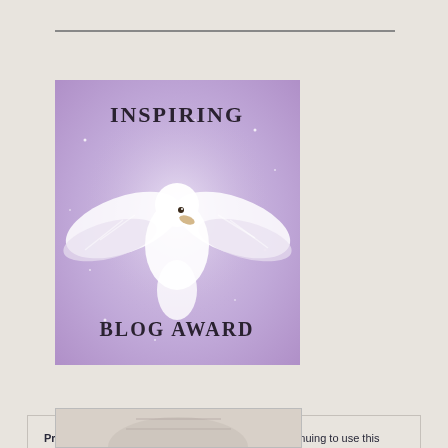[Figure (illustration): Inspiring Blog Award image featuring a white dove with spread wings on a purple/lavender glittery background, with text 'Inspiring' at top and 'Blog Award' at bottom in decorative gothic/Celtic lettering]
Privacy & Cookies: This site uses cookies. By continuing to use this website, you agree to their use.
To find out more, including how to control cookies, see here: Cookie Policy
Close and accept